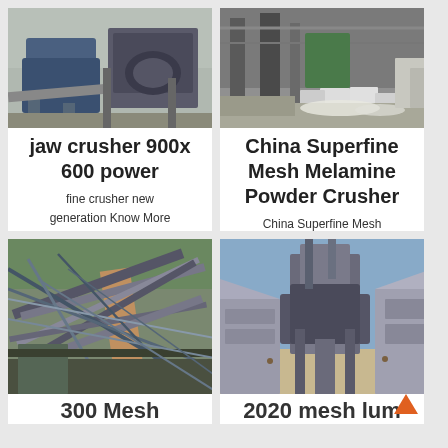[Figure (photo): Industrial jaw crusher equipment, blue metal machine parts visible]
jaw crusher 900x 600 power
fine crusher new generation Know More PE Jaw Crusher Vibrating Screen
[Figure (photo): Industrial building/factory site with debris and white powder materials on ground]
China Superfine Mesh Melamine Powder Crusher
China Superfine Mesh Melamine Powder Crusher Find details about China Melamine
[Figure (photo): Construction/mining site with large metal scaffolding structures on a hillside with red dirt road]
300 Mesh
[Figure (photo): Industrial plant with large equipment tower structure against blue sky, construction buildings on sides]
2020 mesh lum